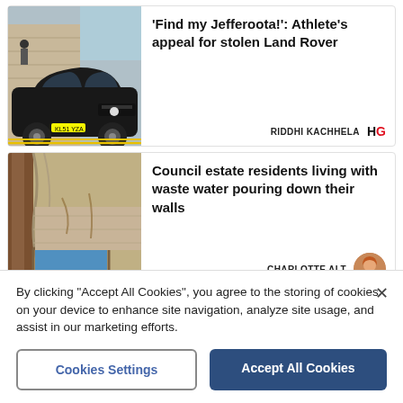[Figure (photo): Black Land Rover SUV parked on street]
'Find my Jefferoota!': Athlete's appeal for stolen Land Rover
RIDDHI KACHHELA HG
[Figure (photo): Water damage on wall of council estate building]
Council estate residents living with waste water pouring down their walls
CHARLOTTE ALT
[Figure (photo): Partially visible third news article image]
By clicking "Accept All Cookies", you agree to the storing of cookies on your device to enhance site navigation, analyze site usage, and assist in our marketing efforts.
Cookies Settings
Accept All Cookies